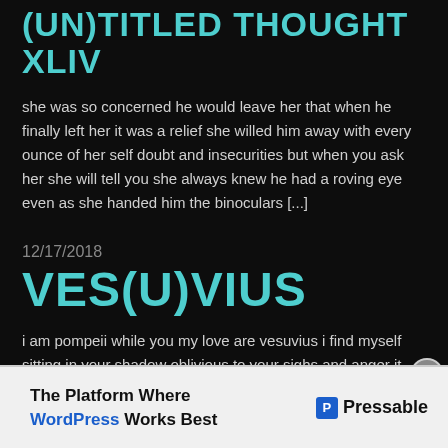(UN)TITLED THOUGHT XLIV
she was so concerned he would leave her that when he finally left her it was a relief she willed him away with every ounce of her self doubt and insecurities but when you ask her she will tell you she always knew he had a roving eye even as she handed him the binoculars [...]
12/17/2018
VES(U)VIUS
i am pompeii while you my love are vesuvius i find myself sitting in your shadow oblivious to your sighs and anger it feels as if it is
[Figure (infographic): Advertisement bar: The Platform Where WordPress Works Best — Pressable logo]